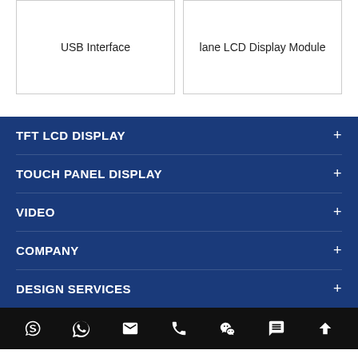USB Interface
lane LCD Display Module
TFT LCD DISPLAY
TOUCH PANEL DISPLAY
VIDEO
COMPANY
DESIGN SERVICES
Skype, WhatsApp, Email, Phone, WeChat, Message, Scroll-up icons